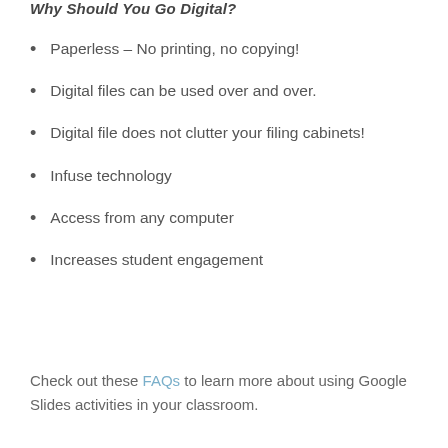Why Should You Go Digital?
Paperless – No printing, no copying!
Digital files can be used over and over.
Digital file does not clutter your filing cabinets!
Infuse technology
Access from any computer
Increases student engagement
Check out these FAQs to learn more about using Google Slides activities in your classroom.